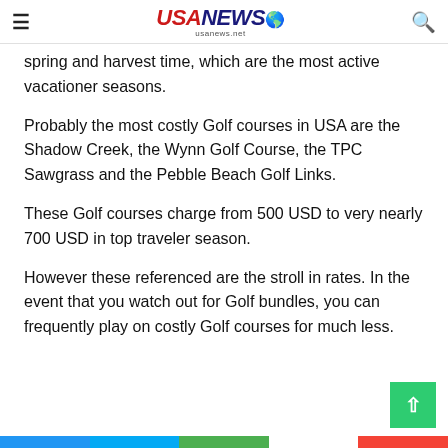USA NEWS usanews.net
spring and harvest time, which are the most active vacationer seasons.
Probably the most costly Golf courses in USA are the Shadow Creek, the Wynn Golf Course, the TPC Sawgrass and the Pebble Beach Golf Links.
These Golf courses charge from 500 USD to very nearly 700 USD in top traveler season.
However these referenced are the stroll in rates. In the event that you watch out for Golf bundles, you can frequently play on costly Golf courses for much less.